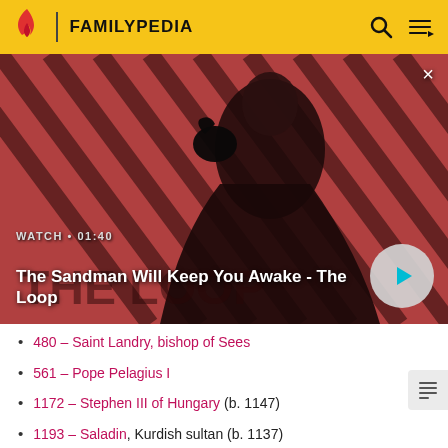FAMILYPEDIA
[Figure (screenshot): Video banner for 'The Sandman Will Keep You Awake - The Loop' with WATCH • 01:40 label and play button on red striped background with person in dark clothes and a raven.]
WATCH • 01:40
The Sandman Will Keep You Awake - The Loop
480 – Saint Landry, bishop of Sees
561 – Pope Pelagius I
1172 – Stephen III of Hungary (b. 1147)
1193 – Saladin, Kurdish sultan (b. 1137)
1238 – Joan of England, wife of Alexander II (b. 1210)
1238 – Yuri II, Grand Prince of Vladimir (b. 1189)